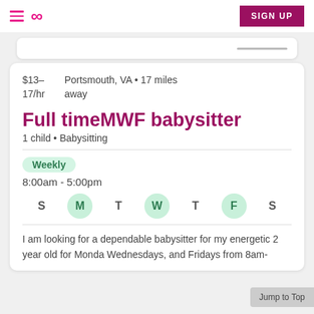Sittercity — SIGN UP
$13–17/hr   Portsmouth, VA • 17 miles away
Full timeMWF babysitter
1 child • Babysitting
Weekly
8:00am - 5:00pm
S M T W T F S
I am looking for a dependable babysitter for my energetic 2 year old for Monda Wednesdays, and Fridays from 8am-